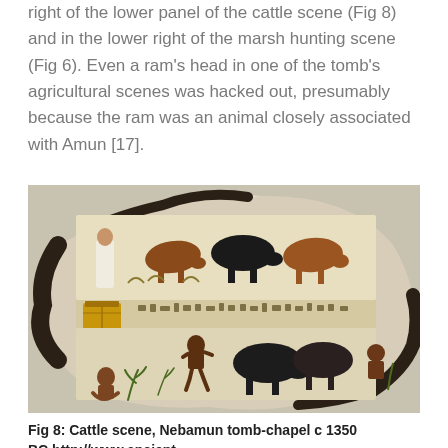right of the lower panel of the cattle scene (Fig 8) and in the lower right of the marsh hunting scene (Fig 6). Even a ram's head in one of the tomb's agricultural scenes was hacked out, presumably because the ram was an animal closely associated with Amun [17].
[Figure (photo): Ancient Egyptian tomb painting fragment showing cattle scene from Nebamun tomb-chapel, c. 1350 BC. The fragment depicts cattle, herders, and hieroglyphic text in two horizontal registers on a stone/plaster fragment with irregular edges.]
Fig 8: Cattle scene, Nebamun tomb-chapel c 1350 BC http://www.ancient-